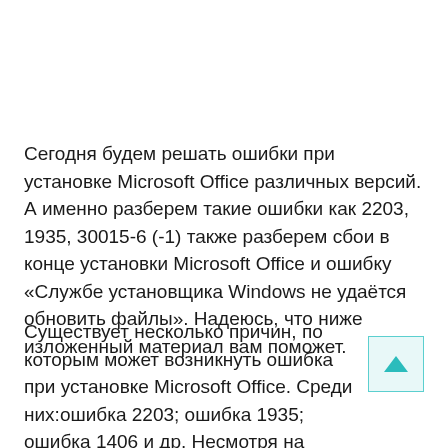Сегодня будем решать ошибки при установке Microsoft Office различных версий. А именно разберем такие ошибки как 2203, 1935, 30015-6 (-1) также разберем сбои в конце установки Microsoft Office и ошибку «Службе установщика Windows не удаётся обновить файлы». Надеюсь, что ниже изложенный материал вам поможет.
Существует несколько причин, по которым может возникнуть ошибка при установке Microsoft Office. Среди них:ошибка 2203; ошибка 1935; ошибка 1406 и др. Несмотря на богатый функционал пакета редакторов, сама программа в плане структуры